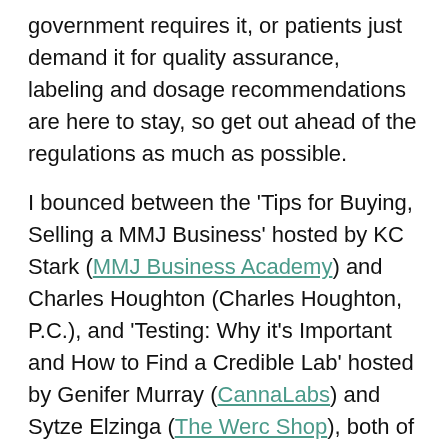government requires it, or patients just demand it for quality assurance, labeling and dosage recommendations are here to stay, so get out ahead of the regulations as much as possible.

I bounced between the 'Tips for Buying, Selling a MMJ Business' hosted by KC Stark (MMJ Business Academy) and Charles Houghton (Charles Houghton, P.C.), and 'Testing: Why it's Important and How to Find a Credible Lab' hosted by Genifer Murray (CannaLabs) and Sytze Elzinga (The Werc Shop), both of which were extremely interesting. As someone that was once trying to sell a cannabis business, I know that finding a buyer can be very difficult. The main tips that I took from that panel was to have your idea as refined as possible, and know where to find buyers. Finding a buyer in Denver or Los Angeles is going to be much easier...